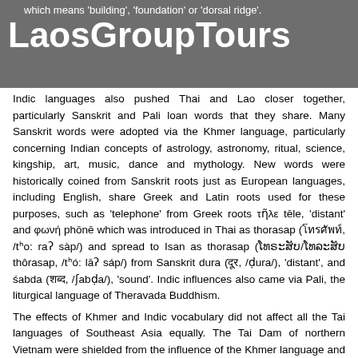which means 'building', 'foundation' or 'dorsal ridge'.
[Figure (logo): LaosGroupTours logo text in white on grey background]
Indic languages also pushed Thai and Lao closer together, particularly Sanskrit and Pali loan words that they share. Many Sanskrit words were adopted via the Khmer language, particularly concerning Indian concepts of astrology, astronomy, ritual, science, kingship, art, music, dance and mythology. New words were historically coined from Sanskrit roots just as European languages, including English, share Greek and Latin roots used for these purposes, such as 'telephone' from Greek roots τῆλε tēle, 'distant' and φωνή phōnē which was introduced in Thai as thorasap (โทรศัพท์, /tʰo: raʔ sàp/) and spread to Isan as thorasap (ໂທຣະສັບ/ໂທລະສັບ thôrasap, /tʰó: lāʔ sáp/) from Sanskrit dura (दूर, /ḍura/), 'distant', and śabda (शब्द, /ʃabḍa/), 'sound'. Indic influences also came via Pali, the liturgical language of Theravada Buddhism.
The effects of Khmer and Indic vocabulary did not affect all the Tai languages of Southeast Asia equally. The Tai Dam of northern Vietnam were shielded from the influence of the Khmer language and the Indic cultural influences that came with them and remain traditionally a non-Buddhist people